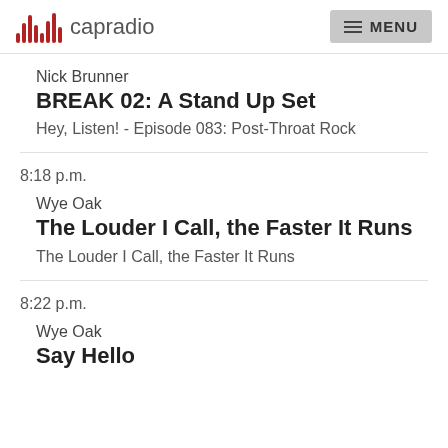capradio  MENU
Nick Brunner
BREAK 02: A Stand Up Set
Hey, Listen! - Episode 083: Post-Throat Rock
8:18 p.m.
Wye Oak
The Louder I Call, the Faster It Runs
The Louder I Call, the Faster It Runs
8:22 p.m.
Wye Oak
Say Hello